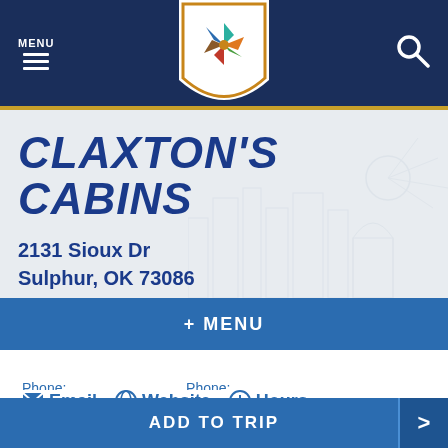MENU [hamburger] [logo] [search]
CLAXTON'S CABINS
2131 Sioux Dr
Sulphur, OK 73086
+ MENU
Phone: 580-622-6649   Phone: 580-247-0208
✉ Email   🌐 Website   🕐 Hours
ADD TO TRIP >